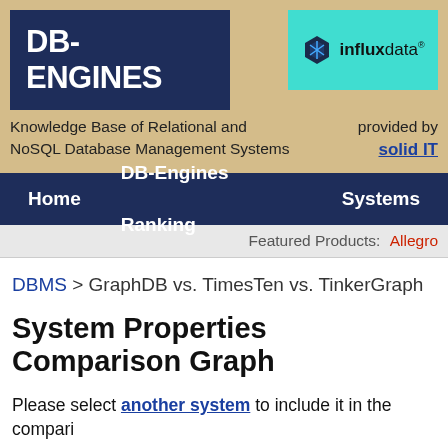[Figure (logo): DB-Engines logo with dark navy background and white text]
[Figure (logo): InfluxData logo on cyan/teal background with hexagon icon]
Knowledge Base of Relational and NoSQL Database Management Systems
provided by solid IT
Home   DB-Engines Ranking   Systems
Featured Products: Allegro
DBMS > GraphDB vs. TimesTen vs. TinkerGraph
System Properties Comparison Graph
Please select another system to include it in the compari
Editorial information provided by DB-Engi